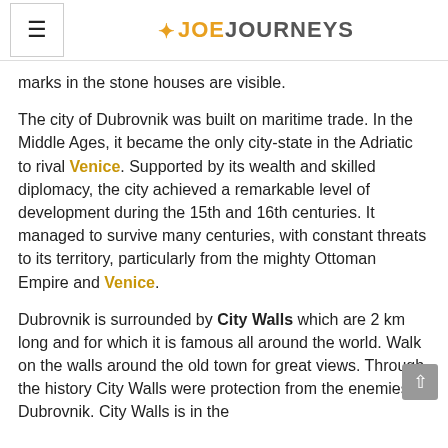≡ JOEJOURNEYS
marks in the stone houses are visible.
The city of Dubrovnik was built on maritime trade. In the Middle Ages, it became the only city-state in the Adriatic to rival Venice. Supported by its wealth and skilled diplomacy, the city achieved a remarkable level of development during the 15th and 16th centuries. It managed to survive many centuries, with constant threats to its territory, particularly from the mighty Ottoman Empire and Venice.
Dubrovnik is surrounded by City Walls which are 2 km long and for which it is famous all around the world. Walk on the walls around the old town for great views. Through the history City Walls were protection from the enemies...